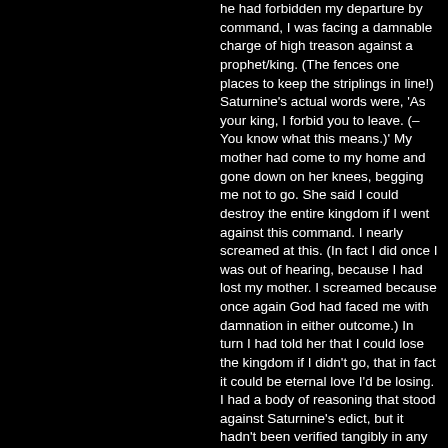he had forbidden my departure by command, I was facing a damnable charge of high treason against a prophet/king. (The fences one places to keep the striplings in line!) Saturnine's actual words were, 'As your king, I forbid you to leave. (–You know what this means.)' My mother had come to my home and gone down on her knees, begging me not to go. She said I could destroy the entire kingdom if I went against this command. I nearly screamed at this. (In fact I did once I was out of hearing, because I had lost my mother. I screamed because once again God had faced me with damnation in either outcome.) In turn I had told her that I could lose the kingdom if I didn't go, that in fact it could be eternal love I'd be losing. I had a body of reasoning that stood against Saturnine's edict, but it hadn't been verified tangibly in any way; my departure was an attempt to verify it tangibly. In effect disobeying my Saturnine's command was consciously placing absolute faith in my body of